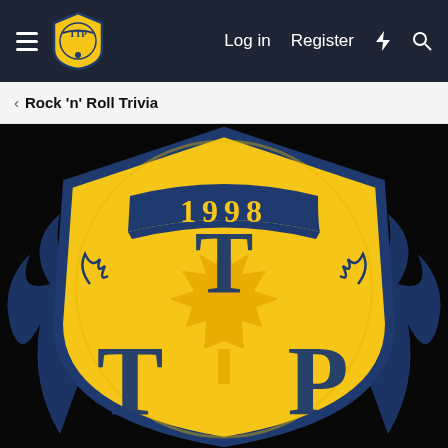TTP Logo — Log in | Register
Rock 'n' Roll Trivia
[Figure (logo): TTP (The Trivia Pub) shield logo on black background. Large yellow shield with dark navy border, featuring a dark navy banner reading '1998' in yellow serif numerals at the top. In the center is a large Canadian maple leaf in golden-orange, behind which are three large serif letters T, T, P arranged with one T at top center and T and P at lower left and right. Dark flame-like decorative elements flank the sides of the shield.]